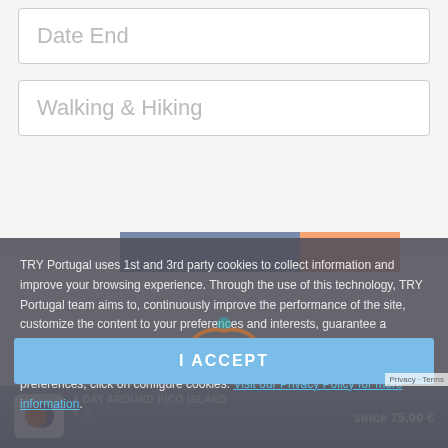Date End
Walking & Hiking
TRY Portugal uses 1st and 3rd party cookies to collect information and improve your browsing experience. Through the use of this technology, TRY Portugal team aims to, continuously improve the performance of the site, customize the content to your preferences and interests, guarantee a didactic experience in our space. For more information on how we use cookies, see our PRIVACY POLICY & COOKIES. To reject or configure your preferences, click on configure cookies. Visit our Privacy Policy for more information.
[Figure (logo): TRY Portugal logo with colorful letters]
I ACCEPT
A DAY AROUND PICO ISLAND
7h   since 75.00 €